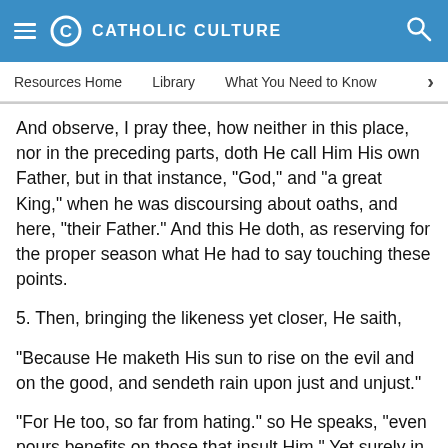CATHOLIC CULTURE
Resources Home   Library   What You Need to Know
And observe, I pray thee, how neither in this place, nor in the preceding parts, doth He call Him His own Father, but in that instance, "God," and "a great King," when he was discoursing about oaths, and here, "their Father." And this He doth, as reserving for the proper season what He had to say touching these points.
5. Then, bringing the likeness yet closer, He saith,
"Because He maketh His sun to rise on the evil and on the good, and sendeth rain upon just and unjust."
"For He too, so far from hating." so He speaks, "even pours benefits on those that insult Him." Yet surely in no respect is the case parallel, not only because of the